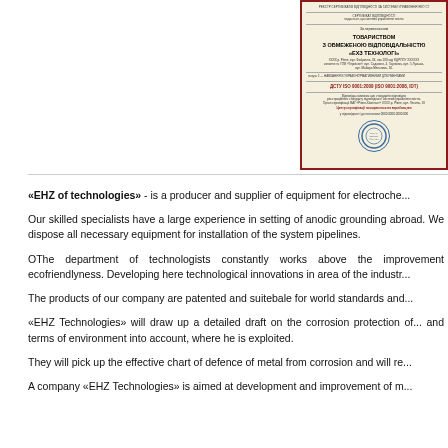[Figure (photo): Ukrainian quality certificate document with red border, beige/cream background, bold Ukrainian text 'ТОВАРИСТВОМ З ОБМЕЖЕНОЮ ВІДПОВІДАЛЬНІСТЮ «ЕХЗ ТЕХНОЛОГІ»', ISO 9001:2008 standard reference, and official blue stamp/seal at bottom right]
«EHZ of technologies» - is a producer and supplier of equipment for electroche...
Our skilled specialists have a large experience in setting of anodic grounding abroad. We dispose all necessary equipment for installation of the system pipelines.
OThe department of technologists constantly works above the improvement ecofriendlyness. Developing here technological innovations in area of the industr...
The products of our company are patented and suitebale for world standards and...
«EHZ Technologies» will draw up a detailed draft on the corrosion protection of... and terms of environment into account, where he is exploited.
They will pick up the effective chart of defence of metal from corrosion and will re...
A company «EHZ Technologies» is aimed at development and improvement of m...